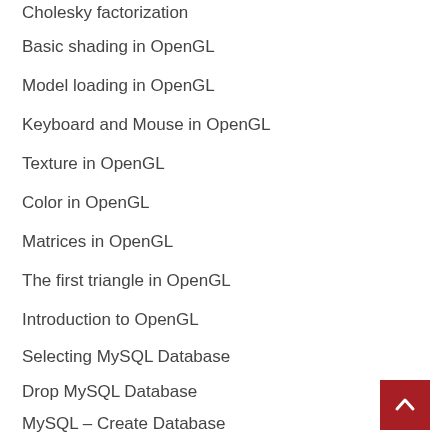Cholesky factorization
Basic shading in OpenGL
Model loading in OpenGL
Keyboard and Mouse in OpenGL
Texture in OpenGL
Color in OpenGL
Matrices in OpenGL
The first triangle in OpenGL
Introduction to OpenGL
Selecting MySQL Database
Drop MySQL Database
MySQL – Create Database
MySQL – Connection